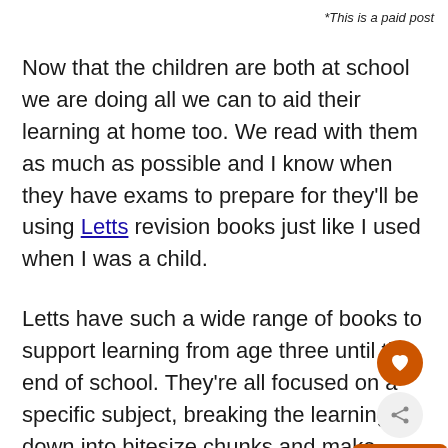*This is a paid post
Now that the children are both at school we are doing all we can to aid their learning at home too. We read with them as much as possible and I know when they have exams to prepare for they'll be using Letts revision books just like I used when I was a child.
Letts have such a wide range of books to support learning from age three until the end of school. They're all focused on a specific subject, breaking the learning down into bitesize chunks and make learning and revision as fun as it can be.